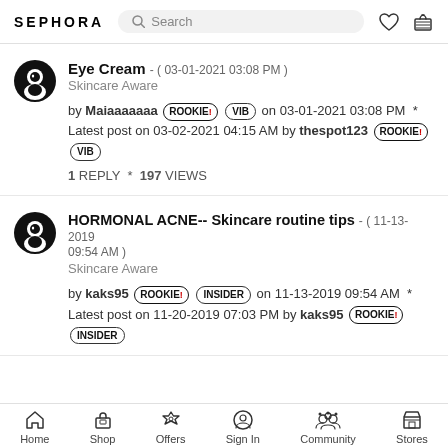SEPHORA | Search bar | Heart icon | Basket icon
Eye Cream - ( 03-01-2021 03:08 PM )
Skincare Aware
by Maiaaaaaaa ROOKIE! VIB on 03-01-2021 03:08 PM * Latest post on 03-02-2021 04:15 AM by thespot123 ROOKIE! VIB
1 REPLY * 197 VIEWS
HORMONAL ACNE-- Skincare routine tips - ( 11-13-2019 09:54 AM )
Skincare Aware
by kaks95 ROOKIE! INSIDER on 11-13-2019 09:54 AM * Latest post on 11-20-2019 07:03 PM by kaks95 ROOKIE! INSIDER
Home | Shop | Offers | Sign In | Community | Stores